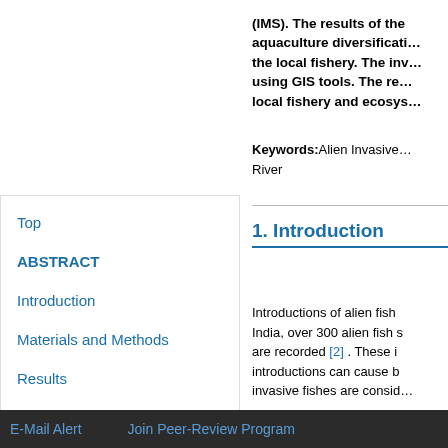(IMS). The results of the aquaculture diversification the local fishery. The inv using GIS tools. The re local fishery and ecosys
Keywords: Alien Invasive River
Top
ABSTRACT
Introduction
Materials and Methods
Results
Discussion
1. Introduction
Introductions of alien fish India, over 300 alien fish s are recorded [2] . These i introductions can cause b invasive fishes are consid
E-Mail Alert    Join Peer-Review Program